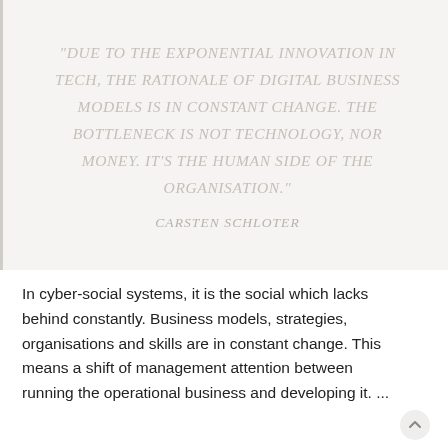"DUE TO THE EXPONENTIAL INNOVATION IN TECH, THE RATIONALE OF DIGITAL BUSINESS MODELS IS IN CONSTANT CHANGE. THE BOTTLENECK IS NOT TECHNOLOGY, NOR MONEY. IT'S THE HUMAN SIDE OF THE ORGANISATION."
CARSTEN SCHLOTER
In cyber-social systems, it is the social which lacks behind constantly. Business models, strategies, organisations and skills are in constant change. This means a shift of management attention between running the operational business and developing it. ...